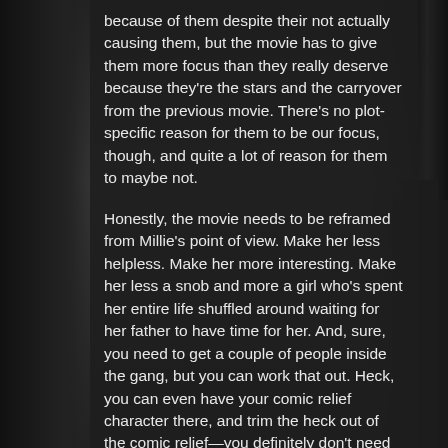because of them despite their not actually causing them, but the movie has to give them more focus than they really deserve because they're the stars and the carryover from the previous movie. There's no plot-specific reason for them to be our focus, though, and quite a lot of reason for them to maybe not.

Honestly, the movie needs to be reframed from Millie's point of view. Make her less helpless. Make her more interesting. Make her less a snob and more a girl who's spent her entire life shuffled around waiting for her father to have time for her. And, sure, you need to get a couple of people inside the gang, but you can work that out. Heck, you can even have your comic relief character there, and trim the heck out of the comic relief—you definitely don't need the Woolly Bill subplot, for example.